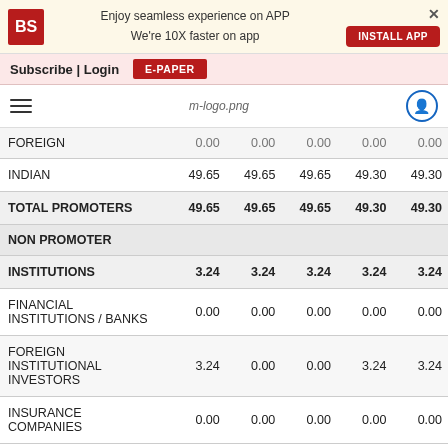Enjoy seamless experience on APP We're 10X faster on app | INSTALL APP
Subscribe | Login | E-PAPER
|  | Col1 | Col2 | Col3 | Col4 | Col5 |
| --- | --- | --- | --- | --- | --- |
| FOREIGN | 0.00 | 0.00 | 0.00 | 0.00 | 0.00 |
| INDIAN | 49.65 | 49.65 | 49.65 | 49.30 | 49.30 |
| TOTAL PROMOTERS | 49.65 | 49.65 | 49.65 | 49.30 | 49.30 |
| NON PROMOTER |  |  |  |  |  |
| INSTITUTIONS | 3.24 | 3.24 | 3.24 | 3.24 | 3.24 |
| FINANCIAL INSTITUTIONS / BANKS | 0.00 | 0.00 | 0.00 | 0.00 | 0.00 |
| FOREIGN INSTITUTIONAL INVESTORS | 3.24 | 0.00 | 0.00 | 3.24 | 3.24 |
| INSURANCE COMPANIES | 0.00 | 0.00 | 0.00 | 0.00 | 0.00 |